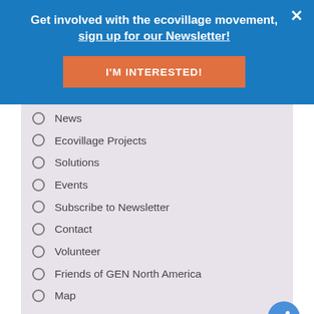Get involved with the ecovillage movement, sign up for our Newsletter!
I'M INTERESTED!
News
Ecovillage Projects
Solutions
Events
Subscribe to Newsletter
Contact
Volunteer
Friends of GEN North America
Map
Recent News
Global Impact: The 2022 Ecovillage Gathering